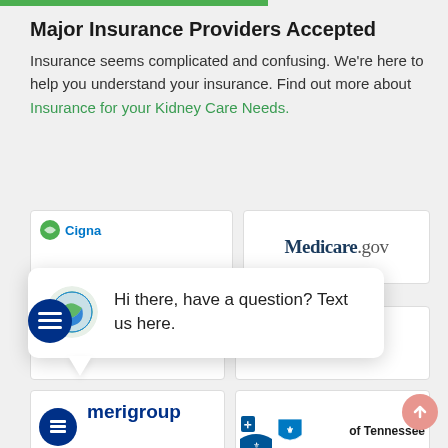Major Insurance Providers Accepted
Insurance seems complicated and confusing. We're here to help you understand your insurance. Find out more about Insurance for your Kidney Care Needs.
[Figure (logo): Cigna HealthSpring logo with 'close' button overlay]
[Figure (logo): Medicare.gov logo]
[Figure (logo): Aetna logo (partially visible, showing 'etna')]
[Figure (infographic): Chat popup with globe icon: 'Hi there, have a question? Text us here.']
[Figure (logo): Amerigroup logo with blue circle icon, An Anthem Company]
[Figure (logo): Blue Cross Blue Shield of Tennessee logo]
[Figure (other): Partial bottom row of logo cards (cut off)]